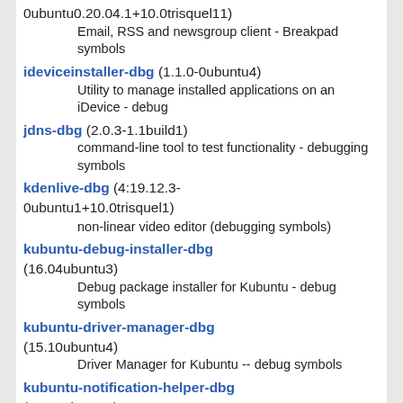0ubuntu0.20.04.1+10.0trisquel11)
Email, RSS and newsgroup client - Breakpad symbols
ideviceinstaller-dbg (1.1.0-0ubuntu4)
Utility to manage installed applications on an iDevice - debug
jdns-dbg (2.0.3-1.1build1)
command-line tool to test functionality - debugging symbols
kdenlive-dbg (4:19.12.3-0ubuntu1+10.0trisquel1)
non-linear video editor (debugging symbols)
kubuntu-debug-installer-dbg (16.04ubuntu3)
Debug package installer for Kubuntu - debug symbols
kubuntu-driver-manager-dbg (15.10ubuntu4)
Driver Manager for Kubuntu -- debug symbols
kubuntu-notification-helper-dbg (19.10ubuntu2)
Kubuntu Notification Helper debugging symbols
lib32stdc++6-10-dbg (10-20200411-0ubuntu1)
GNU Standard C++ Library v3 (debug build)
lib32stdc++6-10-dbg-amd64-cross (10-